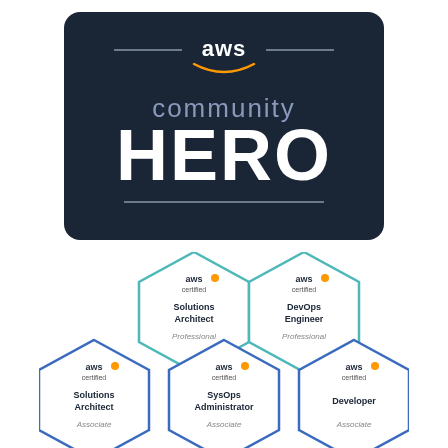[Figure (logo): AWS Community Hero badge - dark navy rounded rectangle with AWS logo (orange smile), 'community' in grey and 'HERO' in large white bold text, with horizontal decorative lines]
[Figure (infographic): Five AWS certification hexagonal badges arranged in two rows: top row has 'Solutions Architect Professional' and 'DevOps Engineer Professional' (teal outline); bottom row has 'Solutions Architect Associate', 'SysOps Administrator Associate', and 'Developer Associate' (blue outline)]